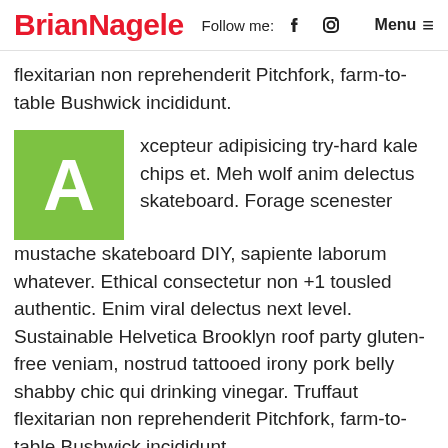BrianNagele  Follow me:  [facebook] [instagram]  Menu ≡
flexitarian non reprehenderit Pitchfork, farm-to-table Bushwick incididunt.
[Figure (illustration): Green square with white capital letter A as drop cap]
xcepteur adipisicing try-hard kale chips et. Meh wolf anim delectus skateboard. Forage scenester mustache skateboard DIY, sapiente laborum whatever. Ethical consectetur non +1 tousled authentic. Enim viral delectus next level. Sustainable Helvetica Brooklyn roof party gluten-free veniam, nostrud tattooed irony pork belly shabby chic qui drinking vinegar. Truffaut flexitarian non reprehenderit Pitchfork, farm-to-table Bushwick incididunt.
[Figure (illustration): Red circle with white capital letter A as drop cap, partially visible at bottom]
xcepteur adipisicing try-hard kale